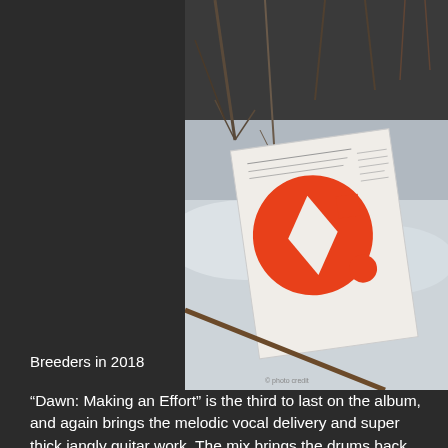[Figure (photo): A photograph of vinyl record inner sleeve / lyric sheet with red circular graphic design, propped up in snow against bare winter shrubs and branches.]
Breeders in 2018
“Dawn: Making an Effort” is the third to last on the album, and again brings the melodic vocal delivery and super thick jangly guitar work. The mix brings the drums back and the vocal guitar work forward. There is a swing and a sadness to this song that again encapsulated the heavy